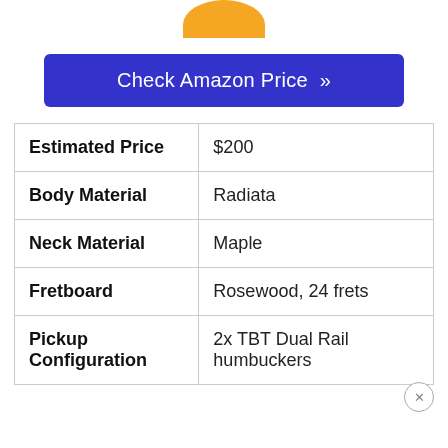[Figure (illustration): Partial orange rounded shape visible at top of page, cropped]
Check Amazon Price »
| Estimated Price | $200 |
| Body Material | Radiata |
| Neck Material | Maple |
| Fretboard | Rosewood, 24 frets |
| Pickup Configuration | 2x TBT Dual Rail humbuckers |